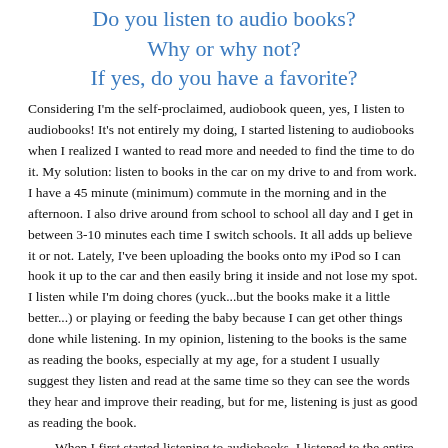Do you listen to audio books?
Why or why not?
If yes, do you have a favorite?
Considering I'm the self-proclaimed, audiobook queen, yes, I listen to audiobooks!  It's not entirely my doing, I started listening to audiobooks when I realized I wanted to read more and needed to find the time to do it.  My solution: listen to books in the car on my drive to and from work.  I have a 45 minute (minimum) commute in the morning and in the afternoon.  I also drive around from school to school all day and I get in between 3-10 minutes each time I switch schools.  It all adds up believe it or not.  Lately, I've been uploading the books onto my iPod so I can hook it up to the car and then easily bring it inside and not lose my spot.  I listen while I'm doing chores (yuck...but the books make it a little better...) or playing or feeding the baby because I can get other things done while listening.  In my opinion, listening to the books is the same as reading the books, especially at my age, for a student I usually suggest they listen and read at the same time so they can see the words they hear and improve their reading, but for me, listening is just as good as reading the book.
When I first started listening to audiobooks, I listened to the entire Princess Diaries series...I had to wait for those that weren't out just yet, but eventually I listened to the whole series.  I loved these because the narrators completely brought the characters to life for me.  Other audiobooks that stick out to me because I remember listening to them on audio and enjoying the narration are: